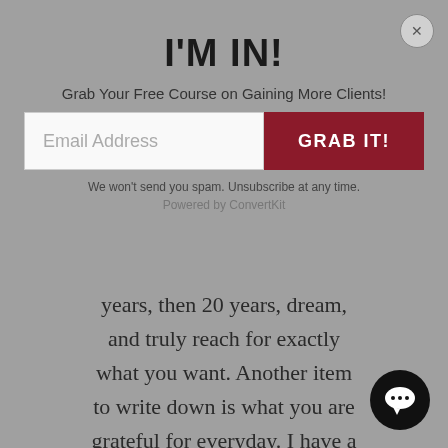I'M IN!
Grab Your Free Course on Gaining More Clients!
Email Address
GRAB IT!
We won't send you spam. Unsubscribe at any time.
Powered by ConvertKit
years, then 20 years, dream, and truly reach for exactly what you want. Another item to write down is what you are grateful for everyday. I have a personal practice to write down or day outloud at least 5 things I'm grateful for